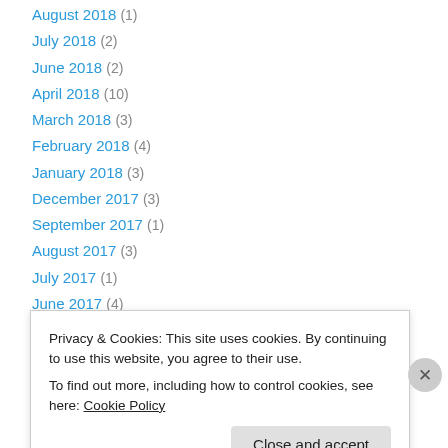August 2018 (1)
July 2018 (2)
June 2018 (2)
April 2018 (10)
March 2018 (3)
February 2018 (4)
January 2018 (3)
December 2017 (3)
September 2017 (1)
August 2017 (3)
July 2017 (1)
June 2017 (4)
May 2017 (2)
Privacy & Cookies: This site uses cookies. By continuing to use this website, you agree to their use. To find out more, including how to control cookies, see here: Cookie Policy